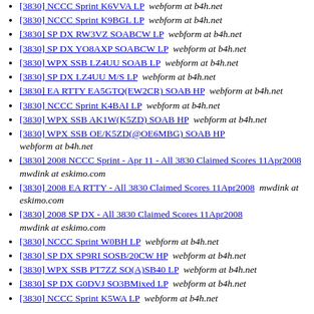[3830] NCCC Sprint K6VVA LP  webform at b4h.net
[3830] NCCC Sprint K9BGL LP  webform at b4h.net
[3830] SP DX RW3VZ SOABCW LP  webform at b4h.net
[3830] SP DX YO8AXP SOABCW LP  webform at b4h.net
[3830] WPX SSB LZ4UU SOAB LP  webform at b4h.net
[3830] SP DX LZ4UU M/S LP  webform at b4h.net
[3830] EA RTTY EA5GTQ(EW2CR) SOAB HP  webform at b4h.net
[3830] NCCC Sprint K4BAI LP  webform at b4h.net
[3830] WPX SSB AK1W(K5ZD) SOAB HP  webform at b4h.net
[3830] WPX SSB OE/K5ZD(@OE6MBG) SOAB HP  webform at b4h.net
[3830] 2008 NCCC Sprint - Apr 11 - All 3830 Claimed Scores 11Apr2008  mwdink at eskimo.com
[3830] 2008 EA RTTY - All 3830 Claimed Scores 11Apr2008  mwdink at eskimo.com
[3830] 2008 SP DX - All 3830 Claimed Scores 11Apr2008  mwdink at eskimo.com
[3830] NCCC Sprint W0BH LP  webform at b4h.net
[3830] SP DX SP9RI SOSB/20CW HP  webform at b4h.net
[3830] WPX SSB PT7ZZ SO(A)SB40 LP  webform at b4h.net
[3830] SP DX G0DVJ SO3BMixed LP  webform at b4h.net
[3830] NCCC Sprint K5WA LP  webform at b4h.net